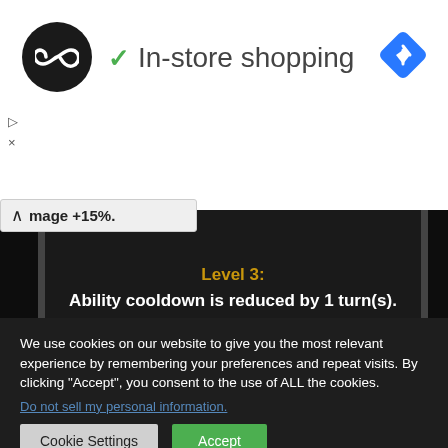[Figure (screenshot): Header bar with circular logo (infinity symbol), green checkmark, 'In-store shopping' text, and blue diamond navigation icon]
▷
×
^ mage +15%.
[Figure (screenshot): Dark game UI panel showing 'Level 3: Ability cooldown is reduced by 1 turn(s).' in orange and white bold text, with 'Level 4:' partially visible at the bottom]
We use cookies on our website to give you the most relevant experience by remembering your preferences and repeat visits. By clicking "Accept", you consent to the use of ALL the cookies.
Do not sell my personal information.
Cookie Settings   Accept